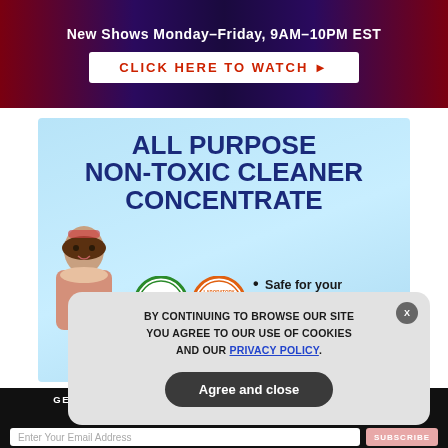[Figure (screenshot): TV channel banner: 'New Shows Monday–Friday, 9AM–10PM EST' with red/blue gradient background and 'CLICK HERE TO WATCH ▶' button]
[Figure (screenshot): Advertisement for 'ALL PURPOSE NON-TOXIC CLEANER CONCENTRATE' on light blue background, with woman, two certification badges, and text 'Safe for your family pets and environment']
GET THE WORLD'S BEST NATURAL HEALTH NEWSLETTER DELIVERED STRAIGHT TO YOUR INBOX
Enter Your Email Address
SUBSCRIBE
BY CONTINUING TO BROWSE OUR SITE YOU AGREE TO OUR USE OF COOKIES AND OUR PRIVACY POLICY.
Agree and close